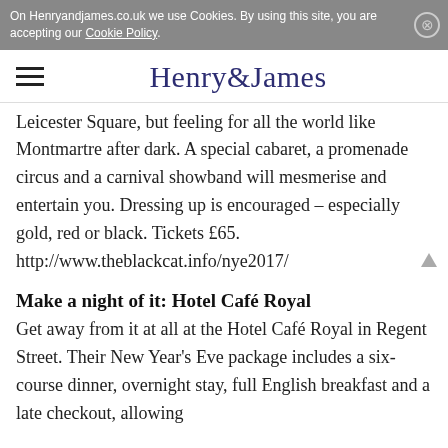On Henryandjames.co.uk we use Cookies. By using this site, you are accepting our Cookie Policy.
[Figure (logo): Henry & James website navigation bar with hamburger menu and site logo]
Leicester Square, but feeling for all the world like Montmartre after dark. A special cabaret, a promenade circus and a carnival showband will mesmerise and entertain you. Dressing up is encouraged – especially gold, red or black. Tickets £65.
http://www.theblackcat.info/nye2017/
Make a night of it: Hotel Café Royal
Get away from it at all at the Hotel Café Royal in Regent Street. Their New Year's Eve package includes a six-course dinner, overnight stay, full English breakfast and a late checkout, allowing